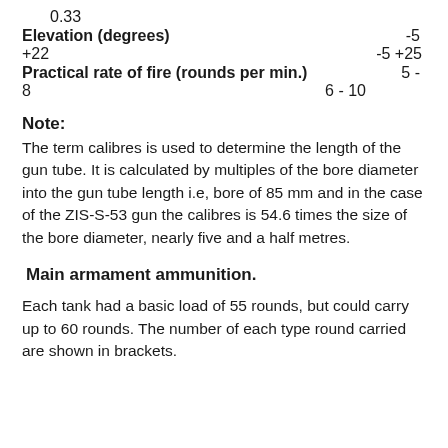0.33
Elevation (degrees)    -5
+22    -5 +25
Practical rate of fire (rounds per min.)    5 -
8    6 - 10
Note:
The term calibres is used to determine the length of the gun tube. It is calculated by multiples of the bore diameter into the gun tube length i.e, bore of 85 mm and in the case of the ZIS-S-53 gun the calibres is 54.6 times the size of the bore diameter, nearly five and a half metres.
Main armament ammunition.
Each tank had a basic load of 55 rounds, but could carry up to 60 rounds. The number of each type round carried are shown in brackets.